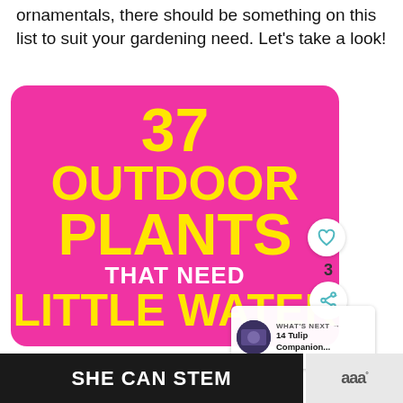ornamentals, there should be something on this list to suit your gardening need. Let's take a look!
[Figure (infographic): Pink card graphic with bold yellow text reading '37 OUTDOOR PLANTS THAT NEED LITTLE WATER' on a hot pink background, with social sharing buttons (heart icon, share icon with count 3) and a 'WHAT'S NEXT' thumbnail for '14 Tulip Companion...']
SHE CAN STEM